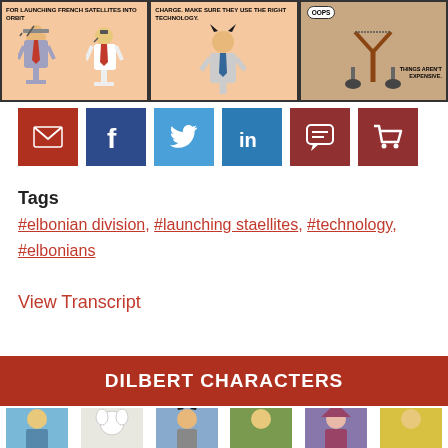[Figure (illustration): Three-panel Dilbert comic strip. Panel 1: Boss and Dilbert talking about launching French satellites into orbit. Panel 2: Boss with devil horns talking about charge and right technology. Panel 3: Cartoon with slingshot and 'oops', text 'things aren't expensive'.]
[Figure (infographic): Row of 6 social sharing buttons: email (red), Facebook (dark blue), Twitter (blue), LinkedIn (blue), comment bubble (dark red), shopping cart (dark red)]
Tags
#elbonian division, #launching staellites, #technology, #elbonians
View Transcript
DILBERT CHARACTERS
[Figure (illustration): Row of 6 Dilbert character portrait thumbnails on colored backgrounds]